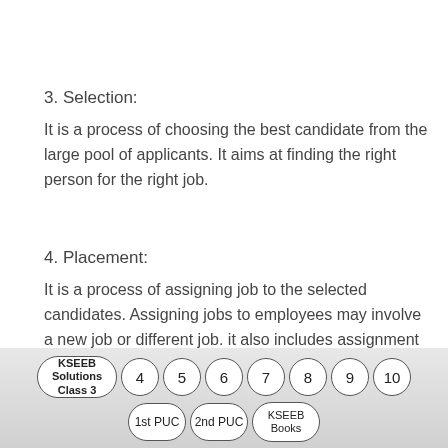3. Selection:
It is a process of choosing the best candidate from the large pool of applicants. It aims at finding the right person for the right job.
4. Placement:
It is a process of assigning job to the selected candidates. Assigning jobs to employees may involve a new job or different job. it also includes assignment of job to a new employee, transfer, promotion and
KSEEB Solutions Class 3 | 4 | 5 | 6 | 7 | 8 | 9 | 10 | 1st PUC | 2nd PUC | KSEEB Books